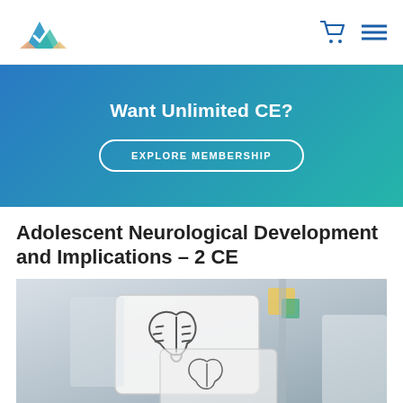Navigation bar with logo, cart icon, and menu icon
[Figure (infographic): Hero banner with blue-to-teal gradient background, text 'Want Unlimited CE?' and button 'EXPLORE MEMBERSHIP']
Adolescent Neurological Development and Implications – 2 CE
[Figure (photo): Photo of a person holding a whiteboard/clipboard with hand-drawn brain diagrams, lab/classroom setting in background]